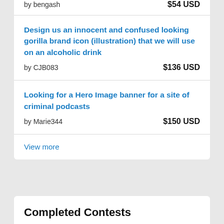by bengash   $54 USD
Design us an innocent and confused looking gorilla brand icon (illustration) that we will use on an alcoholic drink
by CJB083   $136 USD
Looking for a Hero Image banner for a site of criminal podcasts
by Marie344   $150 USD
View more
Completed Contests